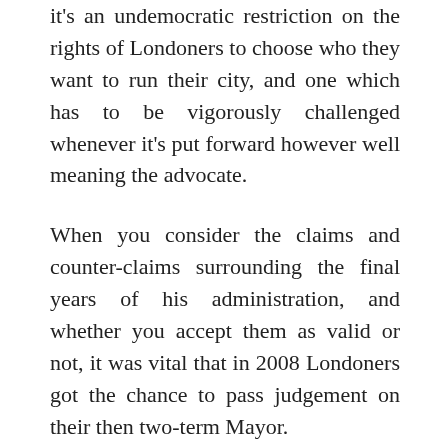it's an undemocratic restriction on the rights of Londoners to choose who they want to run their city, and one which has to be vigorously challenged whenever it's put forward however well meaning the advocate.
When you consider the claims and counter-claims surrounding the final years of his administration, and whether you accept them as valid or not, it was vital that in 2008 Londoners got the chance to pass judgement on their then two-term Mayor.
Firstly it meant Livingstone personally had to face judgement on his term of office and secondly it prevented his supporters from